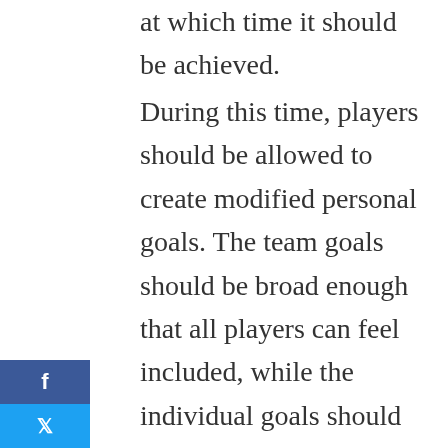at which time it should be achieved.
During this time, players should be allowed to create modified personal goals. The team goals should be broad enough that all players can feel included, while the individual goals should be specific and unique to each player. For instance, a team goal might include: “Improve team pitching accuracy by 20% by March.” However, an individual goal might include: “Improve the drop of my